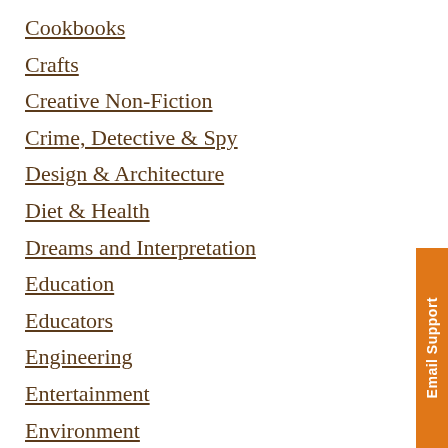Cookbooks
Crafts
Creative Non-Fiction
Crime, Detective & Spy
Design & Architecture
Diet & Health
Dreams and Interpretation
Education
Educators
Engineering
Entertainment
Environment
Fantasy
Fiction & Literature
Finance
Fine Arts